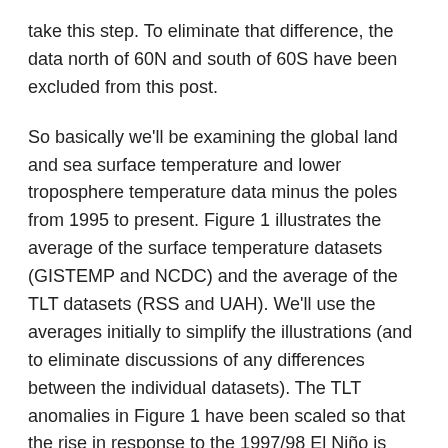take this step. To eliminate that difference, the data north of 60N and south of 60S have been excluded from this post.
So basically we'll be examining the global land and sea surface temperature and lower troposphere temperature data minus the poles from 1995 to present. Figure 1 illustrates the average of the surface temperature datasets (GISTEMP and NCDC) and the average of the TLT datasets (RSS and UAH). We'll use the averages initially to simplify the illustrations (and to eliminate discussions of any differences between the individual datasets). The TLT anomalies in Figure 1 have been scaled so that the rise in response to the 1997/98 El Niño is approximately the same as the surface data. (And for those wondering why the data ends in May 2010, I've used the KMNI Climate Explorer as the source of data for this post, and the latest